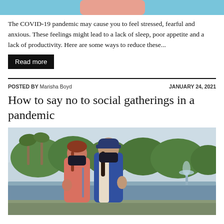[Figure (illustration): Top portion of an illustration with a blue/teal background, partial view of an illustrated figure]
The COVID-19 pandemic may cause you to feel stressed, fearful and anxious. These feelings might lead to a lack of sleep, poor appetite and a lack of productivity. Here are some ways to reduce these...
Read more
POSTED BY Marisha Boyd    JANUARY 24, 2021
How to say no to social gatherings in a pandemic
[Figure (photo): Two people wearing face masks waving at the camera, standing in front of a lake with a fountain, palm trees and other greenery in the background. Overcast sky.]